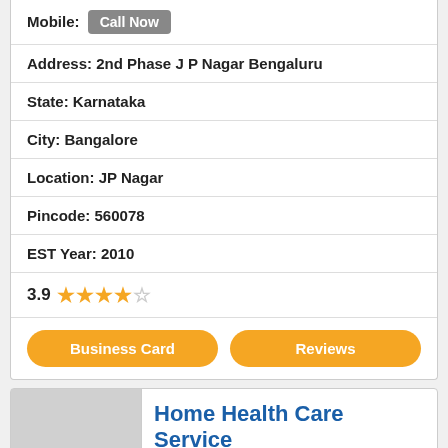Mobile: Call Now
Address: 2nd Phase J P Nagar Bengaluru
State: Karnataka
City: Bangalore
Location: JP Nagar
Pincode: 560078
EST Year: 2010
3.9 ★★★★☆
Business Card | Reviews
Home Health Care Service
Get Quote / Call
Services: Home Medical Equipments, Wheel
Facilities: Home Healthcare
Timing: 10am - 8pm